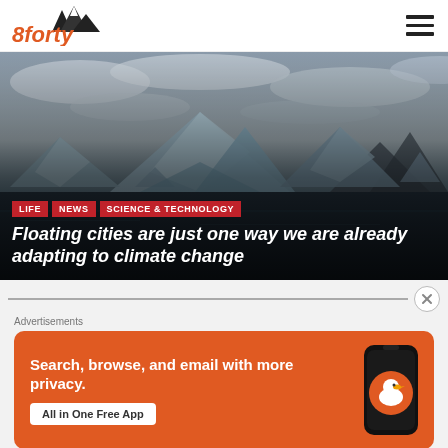8forty — navigation header with logo and menu
[Figure (photo): Aerial/wide photo of blue-grey icebergs floating in dark water under a cloudy overcast sky. Headline text and category tags overlaid at bottom.]
Floating cities are just one way we are already adapting to climate change
LIFE  NEWS  SCIENCE & TECHNOLOGY
Advertisements
[Figure (screenshot): DuckDuckGo advertisement banner: orange background with white text reading 'Search, browse, and email with more privacy.' and button 'All in One Free App'. A phone mockup shows the DuckDuckGo duck logo on screen.]
Follow  ...